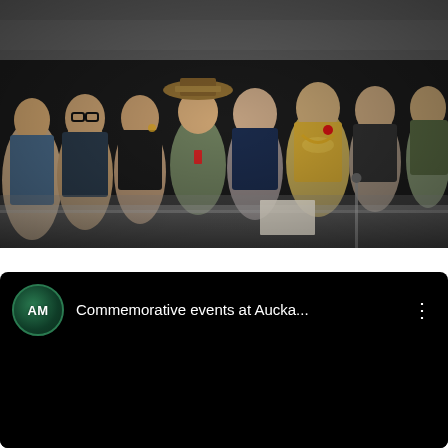[Figure (photo): A photograph of a group of dignitaries and officials seated in a row at what appears to be a commemorative ceremony. People are dressed formally, some in military uniform with hats. The scene is indoors with a reflective surface in the foreground.]
[Figure (screenshot): A YouTube video thumbnail/player interface on a black background. Shows a circular green channel icon with 'AM' text, followed by the video title 'Commemorative events at Aucla...' and a three-dot menu icon. The video content area below is black/not loaded.]